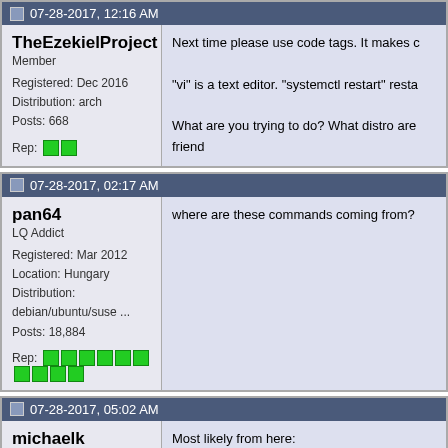07-28-2017, 12:16 AM
TheEzekielProject
Member
Registered: Dec 2016
Distribution: arch
Posts: 668
Rep: [2 green squares]
Next time please use code tags. It makes c
"vi" is a text editor. "systemctl restart" resta
What are you trying to do? What distro are friend
07-28-2017, 02:17 AM
pan64
LQ Addict
Registered: Mar 2012
Location: Hungary
Distribution: debian/ubuntu/suse ...
Posts: 18,884
Rep: [10 green squares]
where are these commands coming from?
07-28-2017, 05:02 AM
michaelk
Moderator
Registered: Aug 2002
Posts: 23,324
Rep: [9 green squares]
Most likely from here:
https://www.server-world.info/en/not..._7&p
Code:
# create new ...